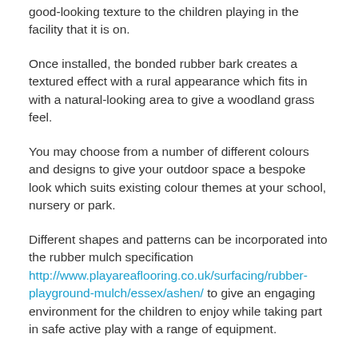good-looking texture to the children playing in the facility that it is on.
Once installed, the bonded rubber bark creates a textured effect with a rural appearance which fits in with a natural-looking area to give a woodland grass feel.
You may choose from a number of different colours and designs to give your outdoor space a bespoke look which suits existing colour themes at your school, nursery or park.
Different shapes and patterns can be incorporated into the rubber mulch specification http://www.playareaflooring.co.uk/surfacing/rubber-playground-mulch/essex/ashen/ to give an engaging environment for the children to enjoy while taking part in safe active play with a range of equipment.
Our team of specialist rubber mulch installers have worked with numerous schools and nurseries near me to design versatile playground facilities out of bonded rubber bark or wood bark chips.